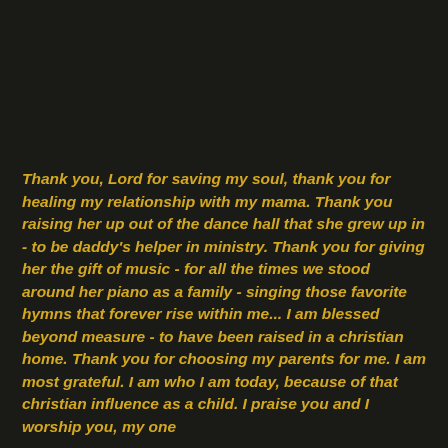Thank you, Lord for saving my soul, thank you for healing my relationship with my mama. Thank you raising her up out of the dance hall that she grew up in - to be daddy's helper in ministry. Thank you for giving her the gift of music - for all the times we stood around her piano as a family - singing those favorite hymns that forever rise within me... I am blessed beyond measure - to have been raised in a christian home. Thank you for choosing my parents for me. I am most grateful. I am who I am today, because of that christian influence as a child. I praise you and I worship you, my one